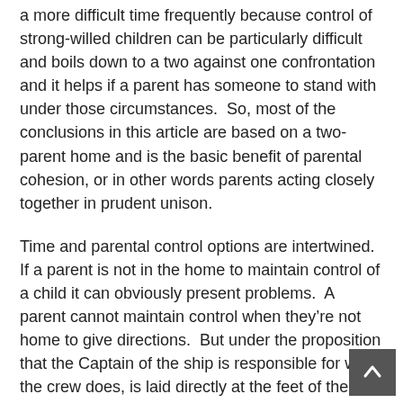a more difficult time frequently because control of strong-willed children can be particularly difficult and boils down to a two against one confrontation and it helps if a parent has someone to stand with under those circumstances.  So, most of the conclusions in this article are based on a two-parent home and is the basic benefit of parental cohesion, or in other words parents acting closely together in prudent unison.
Time and parental control options are intertwined. If a parent is not in the home to maintain control of a child it can obviously present problems.  A parent cannot maintain control when they're not home to give directions.  But under the proposition that the Captain of the ship is responsible for what the crew does, is laid directly at the feet of the person in charge.  Such is the case in child responsibility situations.
A sometimes forgotten factor is the parent's health.  Most everyone has seen amazingly young children take